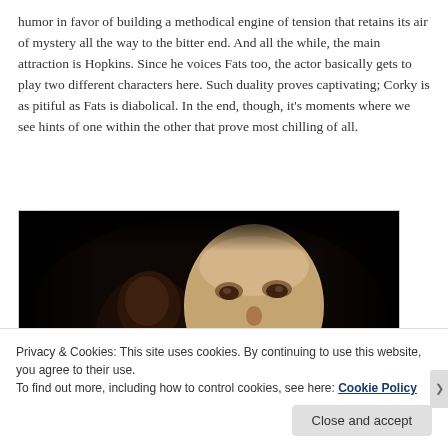humor in favor of building a methodical engine of tension that retains its air of mystery all the way to the bitter end. And all the while, the main attraction is Hopkins. Since he voices Fats too, the actor basically gets to play two different characters here. Such duality proves captivating; Corky is as pitiful as Fats is diabolical. In the end, though, it's moments where we see hints of one within the other that prove most chilling of all.
[Figure (photo): Dark horror movie still showing a creepy ventriloquist dummy/mask face in close-up against a dark background]
Privacy & Cookies: This site uses cookies. By continuing to use this website, you agree to their use.
To find out more, including how to control cookies, see here: Cookie Policy
Close and accept